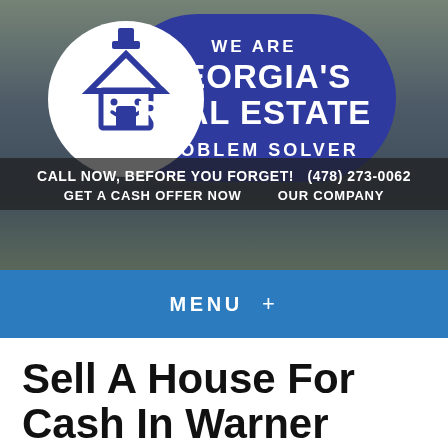[Figure (logo): We Are Georgia's Real Estate Problem Solver logo — white circle with a smiling house icon on the left, dark blue rounded rectangle badge with white text on the right]
CALL NOW, BEFORE YOU FORGET!   (478) 273-0062
GET A CASH OFFER NOW      OUR COMPANY
MENU  +
Sell A House For Cash In Warner Robins – Advantages Of Working With Real